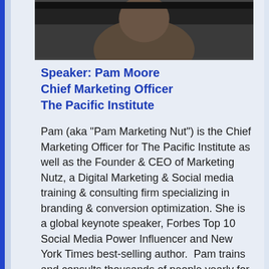[Figure (photo): Portrait photo of Pam Moore, partially visible at top of page, showing head and shoulders against a dark background]
Speaker: Pam Moore
Chief Marketing Officer
The Pacific Institute
Pam (aka "Pam Marketing Nut") is the Chief Marketing Officer for The Pacific Institute as well as the Founder & CEO of Marketing Nutz, a Digital Marketing & Social media training & consulting firm specializing in branding & conversion optimization. She is a global keynote speaker, Forbes Top 10 Social Media Power Influencer and New York Times best-selling author.  Pam trains and consults thousands of people yearly for organizations of all size, from entrepreneur